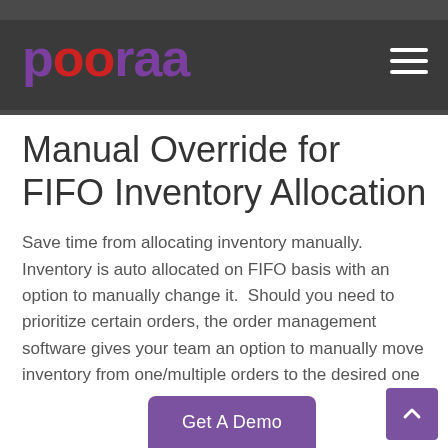pooraa
Manual Override for FIFO Inventory Allocation
Save time from allocating inventory manually. Inventory is auto allocated on FIFO basis with an option to manually change it.  Should you need to prioritize certain orders, the order management software gives your team an option to manually move inventory from one/multiple orders to the desired one